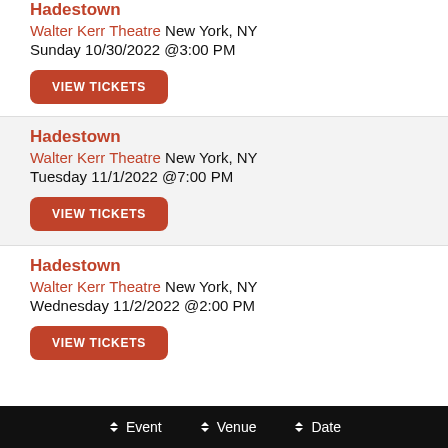Hadestown (partially visible at top)
Walter Kerr Theatre New York, NY
Sunday 10/30/2022 @3:00 PM
VIEW TICKETS
Hadestown
Walter Kerr Theatre New York, NY
Tuesday 11/1/2022 @7:00 PM
VIEW TICKETS
Hadestown
Walter Kerr Theatre New York, NY
Wednesday 11/2/2022 @2:00 PM
VIEW TICKETS
Event   Venue   Date